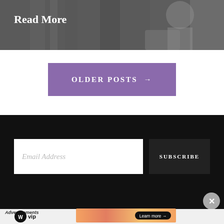[Figure (photo): Dark photo of a person carrying a bag, with 'Read More' text overlay in white bold serif font]
OLDER POSTS →
Email Address
SUBSCRIBE
Advertisements
[Figure (logo): WordPress VIP logo (W circle icon with 'WP vip' text)]
[Figure (infographic): Orange/pink gradient advertisement banner with 'Learn more →' black pill button]